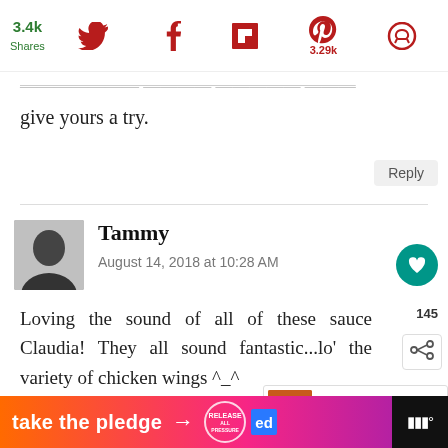3.4k Shares | Twitter | Facebook | Flipboard | Pinterest 3.29k | Other
give yours a try.
Reply
Tammy
August 14, 2018 at 10:28 AM
Loving the sound of all of these sauce Claudia! They all sound fantastic...lo the variety of chicken wings ^_^
145
WHAT'S NEXT → Curry Chicken Wings
Reply
[Figure (infographic): Ad banner: orange-to-pink gradient with text 'take the pledge →' and a RELEASE logo circular badge, an 'ed' blue square logo, and a dark right panel with music note icons]